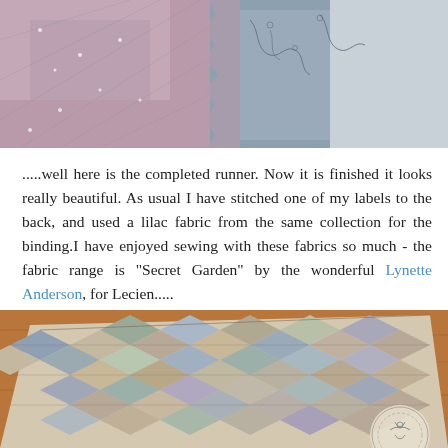[Figure (photo): Close-up photograph of quilted fabric pieces in mauve/pink with small white floral print and blue-grey fabric with botanical embroidery patterns, layered together]
.....well here is the completed runner. Now it is finished it looks really beautiful. As usual I have stitched one of my labels to the back, and used a lilac fabric from the same collection for the binding.I have enjoyed sewing with these fabrics so much - the fabric range is "Secret Garden" by the wonderful Lynette Anderson, for Lecien.....
[Figure (photo): Photograph of a completed patchwork table runner laid on a wooden surface, featuring a diamond/harlequin pattern in muted blues, greens, pinks and beiges, with an embroidered doily-like element visible at the right edge]